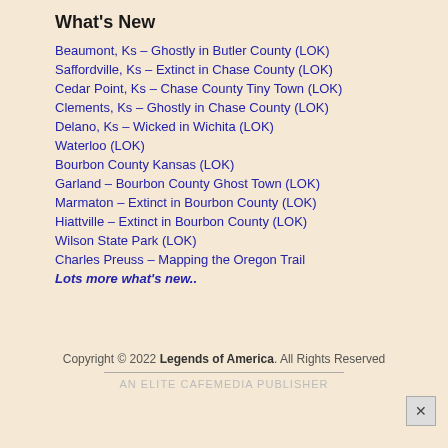What's New
Beaumont, Ks – Ghostly in Butler County (LOK)
Saffordville, Ks – Extinct in Chase County (LOK)
Cedar Point, Ks – Chase County Tiny Town (LOK)
Clements, Ks – Ghostly in Chase County (LOK)
Delano, Ks – Wicked in Wichita (LOK)
Waterloo (LOK)
Bourbon County Kansas (LOK)
Garland – Bourbon County Ghost Town (LOK)
Marmaton – Extinct in Bourbon County (LOK)
Hiattville – Extinct in Bourbon County (LOK)
Wilson State Park (LOK)
Charles Preuss – Mapping the Oregon Trail
Lots more what's new..
Copyright © 2022 Legends of America. All Rights Reserved
AN ELITE CAFEMEDIA PUBLISHER